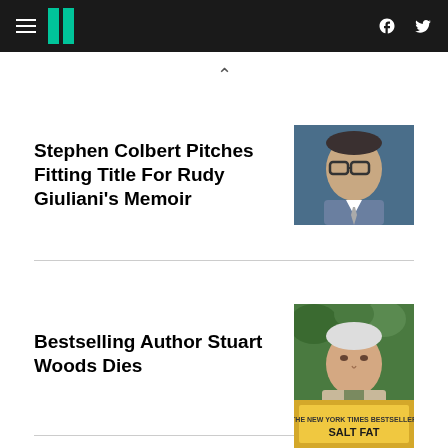HuffPost navigation header with hamburger menu, logo, Facebook and Twitter icons
Stephen Colbert Pitches Fitting Title For Rudy Giuliani's Memoir
[Figure (photo): Stephen Colbert headshot, man with glasses in suit]
Bestselling Author Stuart Woods Dies
[Figure (photo): Stuart Woods headshot, elderly man with white hair outdoors]
[Figure (photo): Partial view of a book cover, partially cropped at bottom of page]